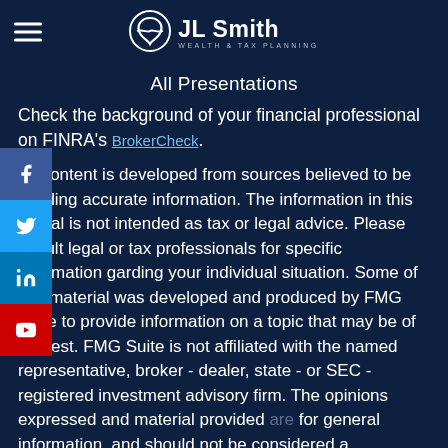JL Smith Wealth & Tax Planning — All Presentations
All Presentations
Check the background of your financial professional on FINRA's BrokerCheck.
The content is developed from sources believed to be providing accurate information. The information in this material is not intended as tax or legal advice. Please consult legal or tax professionals for specific information regarding your individual situation. Some of this material was developed and produced by FMG Suite to provide information on a topic that may be of interest. FMG Suite is not affiliated with the named representative, broker - dealer, state - or SEC - registered investment advisory firm. The opinions expressed and material provided are for general information, and should not be considered a solicitation for the purchase or sale of any security.